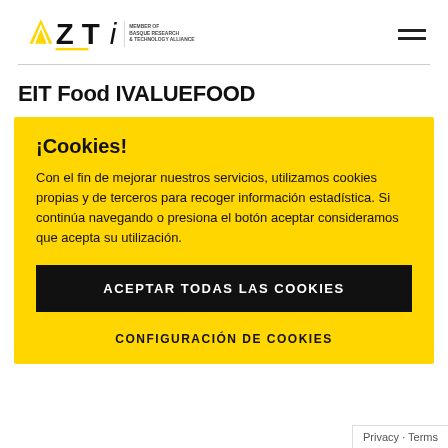[Figure (logo): AZTI logo with text 'MEMBER OF BASQUE RESEARCH & TECHNOLOGY ALLIANCE']
EIT Food IVALUEFOOD
¡Cookies!
Con el fin de mejorar nuestros servicios, utilizamos cookies propias y de terceros para recoger información estadística. Si continúa navegando o presiona el botón aceptar consideramos que acepta su utilización.
ACEPTAR TODAS LAS COOKIES
CONFIGURACIÓN DE COOKIES
Privacy · Terms